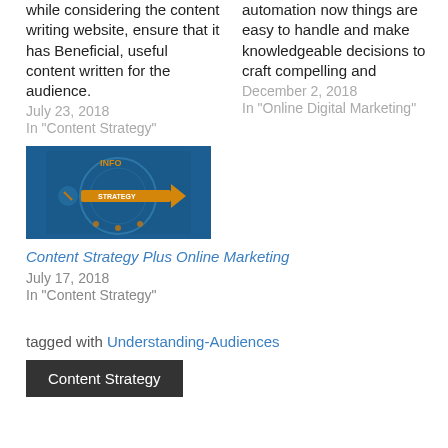while considering the content writing website, ensure that it has Beneficial, useful content written for the audience.
July 23, 2018
In "Content Strategy"
automation now things are easy to handle and make knowledgeable decisions to craft compelling and
December 2, 2018
In "Online Digital Marketing"
[Figure (photo): A dark blue circular gauge/dial image with a golden arrow labeled STRATEGY pointing to the right, with text INFO visible at the top.]
Content Strategy Plus Online Marketing
July 17, 2018
In "Content Strategy"
tagged with Understanding-Audiences
Content Strategy